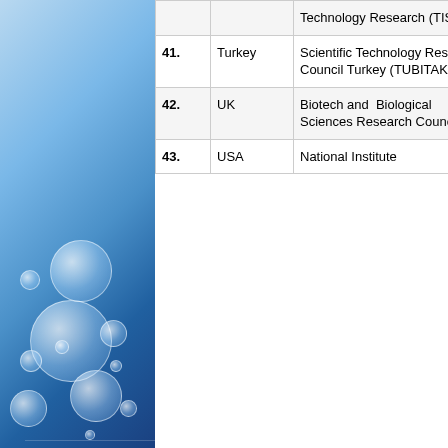[Figure (photo): Blue background with molecule/bubble imagery on the left side of the page]
| No. | Country | Organization |
| --- | --- | --- |
|  |  | Technology Research (TISTR) |
| 41. | Turkey | Scientific Technology Research Council Turkey (TUBITAK) |
| 42. | UK | Biotech and Biological Sciences Research Council |
| 43. | USA | National Institute |